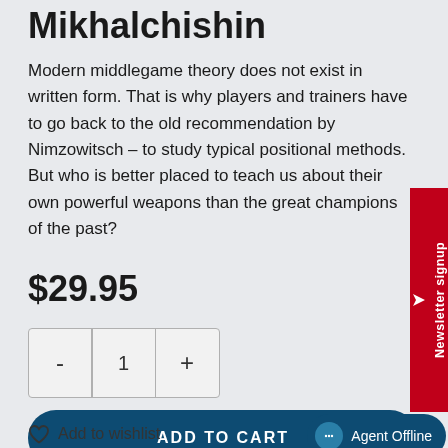Mikhalchishin
Modern middlegame theory does not exist in written form. That is why players and trainers have to go back to the old recommendation by Nimzowitsch – to study typical positional methods. But who is better placed to teach us about their own powerful weapons than the great champions of the past?
$29.95
[Figure (infographic): Quantity selector with minus, 1, and plus buttons in a bordered box]
ADD TO CART
Agent Offline
Add to wishlist
Newsletter signup